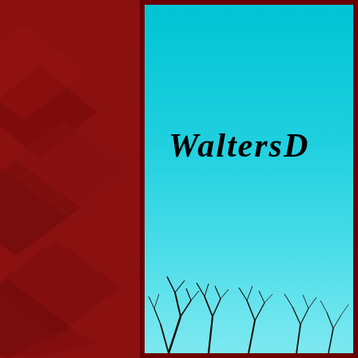[Figure (photo): Dark crimson red left panel with geometric triangular/diamond decorative shapes in darker red overlay. To the right is a large photo of a cyan/teal gradient sky (bright turquoise at top fading lighter toward bottom) with bare winter tree branches visible at the bottom edge. A cursive script text 'WaltersD' (partially cropped) is overlaid in black italic script font on the sky portion.]
WaltersD